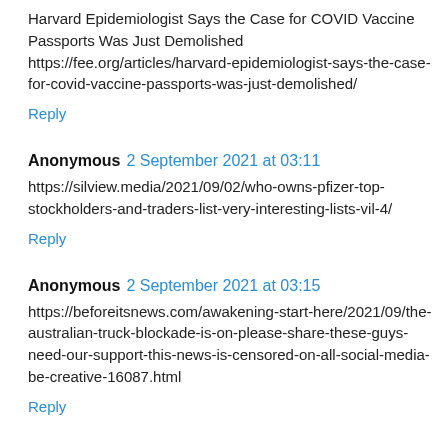Harvard Epidemiologist Says the Case for COVID Vaccine Passports Was Just Demolished https://fee.org/articles/harvard-epidemiologist-says-the-case-for-covid-vaccine-passports-was-just-demolished/
Reply
Anonymous 2 September 2021 at 03:11
https://silview.media/2021/09/02/who-owns-pfizer-top-stockholders-and-traders-list-very-interesting-lists-vil-4/
Reply
Anonymous 2 September 2021 at 03:15
https://beforeitsnews.com/awakening-start-here/2021/09/the-australian-truck-blockade-is-on-please-share-these-guys-need-our-support-this-news-is-censored-on-all-social-media-be-creative-16087.html
Reply